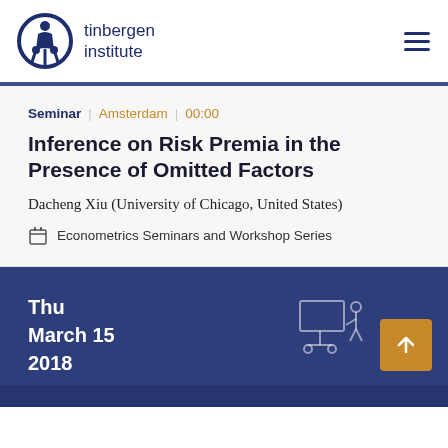tinbergen institute
Seminar | Amsterdam | 00:00
Inference on Risk Premia in the Presence of Omitted Factors
Dacheng Xiu (University of Chicago, United States)
Econometrics Seminars and Workshop Series
Thu
March 15
2018